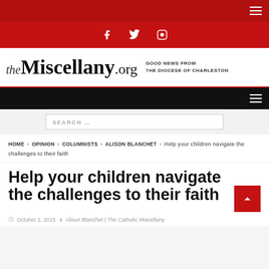theMiscellany.org — GOOD NEWS FROM THE DIOCESE OF CHARLESTON
HOME > OPINION > COLUMNISTS > ALISON BLANCHET > Help your children navigate the challenges to their faith
Help your children navigate the challenges to their faith
October 2, 2015 • Alison Blanchet | The Catholic Miscellany